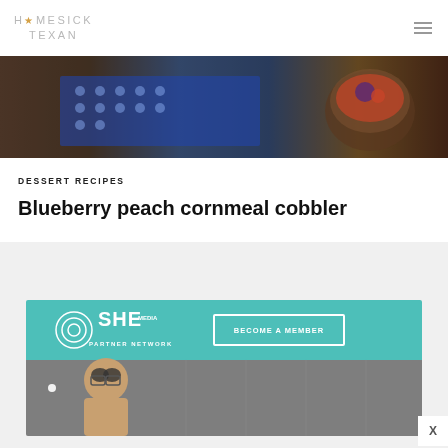HOMESICK TEXAN
[Figure (photo): Food photo showing a blue polka-dot cloth and a bowl with dessert on a dark wooden surface]
DESSERT RECIPES
Blueberry peach cornmeal cobbler
[Figure (photo): SHE Media Partner Network advertisement banner with teal background showing 'BECOME A MEMBER' button and a smiling woman with glasses]